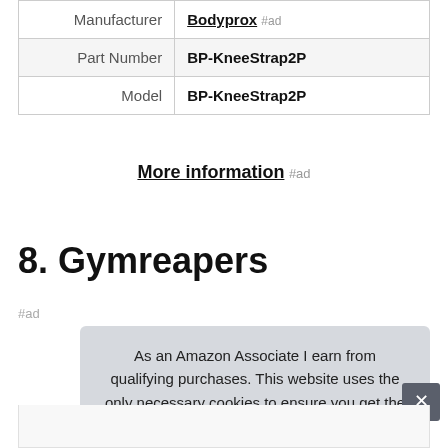| Manufacturer | Bodyprox #ad |
| Part Number | BP-KneeStrap2P |
| Model | BP-KneeStrap2P |
More information #ad
8. Gymreapers
#ad
As an Amazon Associate I earn from qualifying purchases. This website uses the only necessary cookies to ensure you get the best experience on our website. More information